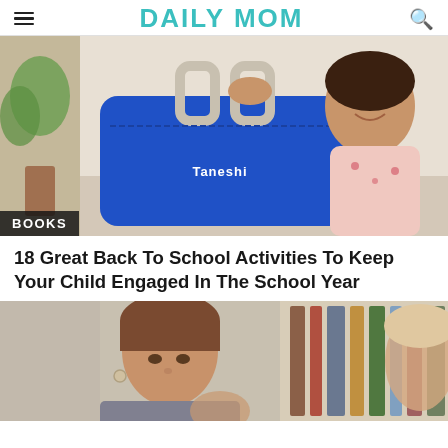DAILY MOM
[Figure (photo): A young girl holding a blue Taneshi bag/case, smiling. A plant and warm-toned background visible. Badge overlay reads BOOKS.]
18 Great Back To School Activities To Keep Your Child Engaged In The School Year
[Figure (photo): A woman with short hair looking down, appears to be in a library or classroom setting with a child and bookshelves in the background.]